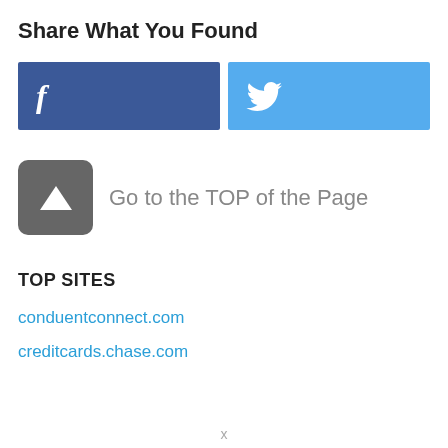Share What You Found
[Figure (infographic): Facebook share button (blue rectangle with white 'f' icon) and Twitter share button (light blue rectangle with white bird icon), side by side]
[Figure (infographic): Dark gray rounded square icon with white upward-pointing triangle/caret ('^') symbol, representing a 'go to top' button, followed by text 'Go to the TOP of the Page']
TOP SITES
conduentconnect.com
creditcards.chase.com
x